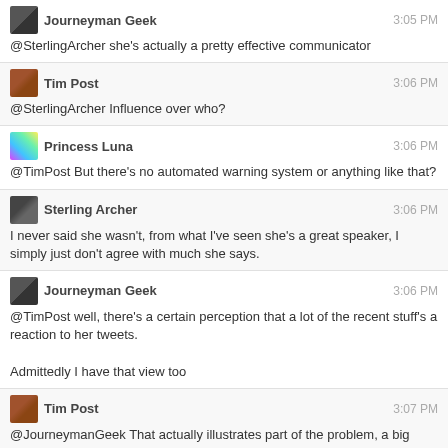Journeyman Geek 3:05 PM
@SterlingArcher she's actually a pretty effective communicator
Tim Post 3:06 PM
@SterlingArcher Influence over who?
Princess Luna 3:06 PM
@TimPost But there's no automated warning system or anything like that?
Sterling Archer 3:06 PM
I never said she wasn't, from what I've seen she's a great speaker, I simply just don't agree with much she says.
Journeyman Geek 3:06 PM
@TimPost well, there's a certain perception that a lot of the recent stuff's a reaction to her tweets.
Admittedly I have that view too
Tim Post 3:07 PM
@JourneymanGeek That actually illustrates part of the problem, a big one.
Catija 3:07 PM
20 A: Can we do more than just delete rude comments?
I'm going to preface this answer a bit with some information about myself: I'm not a SO user. I'm a moderator on two sites including Interpersonal Skills which, in the time it's existed until now (~9 months)